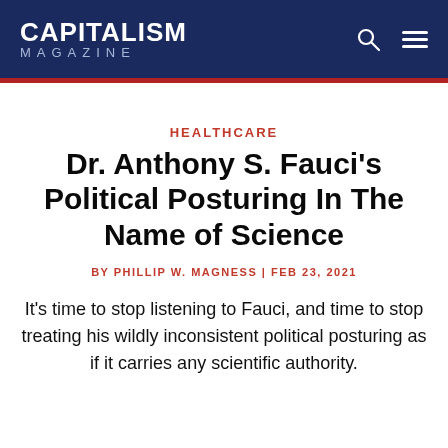CAPITALISM MAGAZINE
HEALTHCARE
Dr. Anthony S. Fauci's Political Posturing In The Name of Science
BY PHILLIP W. MAGNESS | FEB 23, 2021
It's time to stop listening to Fauci, and time to stop treating his wildly inconsistent political posturing as if it carries any scientific authority.